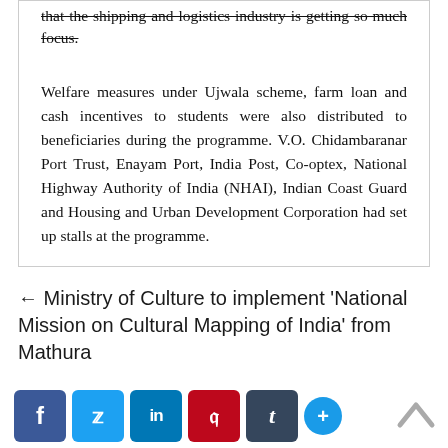that the shipping and logistics industry is getting so much focus.
Welfare measures under Ujwala scheme, farm loan and cash incentives to students were also distributed to beneficiaries during the programme. V.O. Chidambaranar Port Trust, Enayam Port, India Post, Co-optex, National Highway Authority of India (NHAI), Indian Coast Guard and Housing and Urban Development Corporation had set up stalls at the programme.
← Ministry of Culture to implement 'National Mission on Cultural Mapping of India' from Mathura